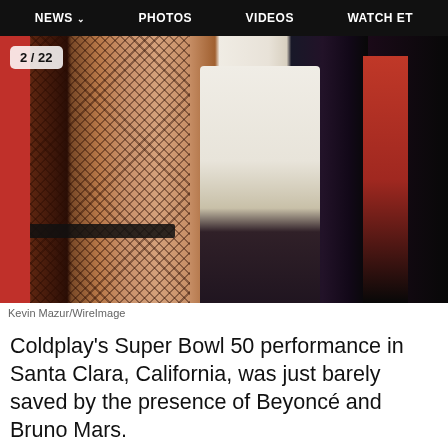NEWS  PHOTOS  VIDEOS  WATCH ET
[Figure (photo): Concert/performance photo showing performers on stage, including a person in fishnet stockings and black shorts, a person in a white long-sleeve shirt and dark pants, and others in red and black costumes. Counter badge showing 2/22 in top left corner.]
Kevin Mazur/WireImage
Coldplay's Super Bowl 50 performance in Santa Clara, California, was just barely saved by the presence of Beyoncé and Bruno Mars.